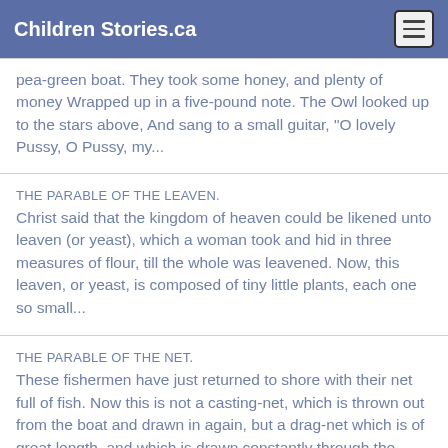Children Stories.ca
pea-green boat. They took some honey, and plenty of money Wrapped up in a five-pound note. The Owl looked up to the stars above, And sang to a small guitar, "O lovely Pussy, O Pussy, my...
THE PARABLE OF THE LEAVEN.
Christ said that the kingdom of heaven could be likened unto leaven (or yeast), which a woman took and hid in three measures of flour, till the whole was leavened. Now, this leaven, or yeast, is composed of tiny little plants, each one so small...
THE PARABLE OF THE NET.
These fishermen have just returned to shore with their net full of fish. Now this is not a casting-net, which is thrown out from the boat and drawn in again, but a drag-net which is of great length, and which is drawn constantly through the water ...